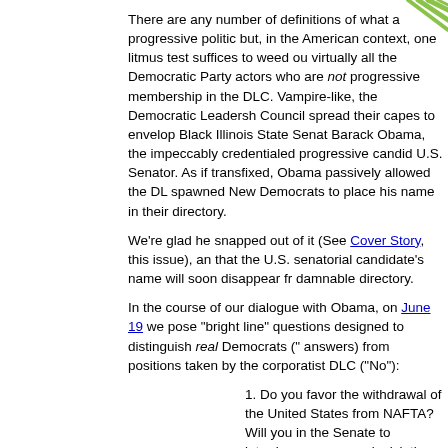[Figure (illustration): Decorative green diagonal lines/stripes in top-right corner]
There are any number of definitions of what a progressive politic but, in the American context, one litmus test suffices to weed ou virtually all the Democratic Party actors who are not progressive membership in the DLC. Vampire-like, the Democratic Leadersh Council spread their capes to envelop Black Illinois State Senat Barack Obama, the impeccably credentialed progressive candid U.S. Senator. As if transfixed, Obama passively allowed the DL spawned New Democrats to place his name in their directory.
We're glad he snapped out of it (See Cover Story, this issue), an that the U.S. senatorial candidate's name will soon disappear fr damnable directory.
In the course of our dialogue with Obama, on June 19 we pose "bright line" questions designed to distinguish real Democrats (" answers) from positions taken by the corporatist DLC ("No"):
1. Do you favor the withdrawal of the United States from NAFTA?  Will you in the Senate to introduce or sponsor legislation toward that end?
2. Do you favor the adoption of a single payer system of universal health care to extend the availability of quality health care to all persons in this country?  Will you in the Senate introduce or sponsor legislation toward that end?